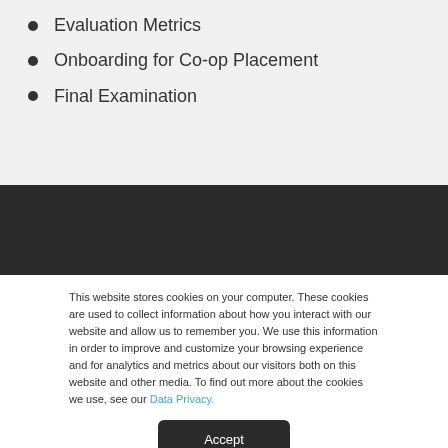Evaluation Metrics
Onboarding for Co-op Placement
Final Examination
This website stores cookies on your computer. These cookies are used to collect information about how you interact with our website and allow us to remember you. We use this information in order to improve and customize your browsing experience and for analytics and metrics about our visitors both on this website and other media. To find out more about the cookies we use, see our Data Privacy.